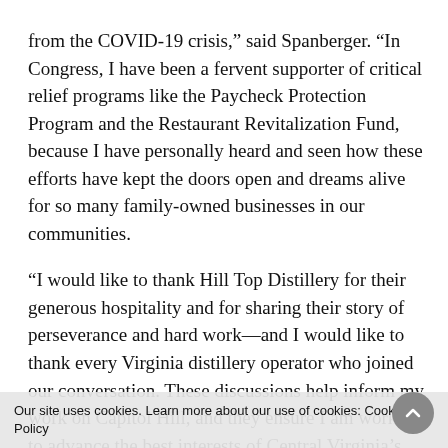from the COVID-19 crisis,” said Spanberger. “In Congress, I have been a fervent supporter of critical relief programs like the Paycheck Protection Program and the Restaurant Revitalization Fund, because I have personally heard and seen how these efforts have kept the doors open and dreams alive for so many family-owned businesses in our communities.
“I would like to thank Hill Top Distillery for their generous hospitality and for sharing their story of perseverance and hard work—and I would like to thank every Virginia distillery operator who joined our conversation. These discussions help inform my work on Capitol Hill, and they ensure I am working to advance the best interests of Central Virginia’s small businesses, their employees, the communities they serve.”
Our site uses cookies. Learn more about our use of cookies: Cookie Policy